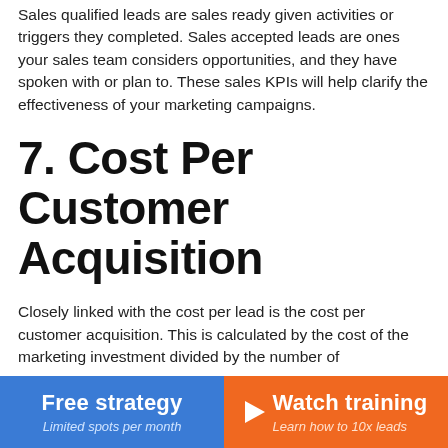Sales qualified leads are sales ready given activities or triggers they completed. Sales accepted leads are ones your sales team considers opportunities, and they have spoken with or plan to. These sales KPIs will help clarify the effectiveness of your marketing campaigns.
7. Cost Per Customer Acquisition
Closely linked with the cost per lead is the cost per customer acquisition. This is calculated by the cost of the marketing investment divided by the number of
Free strategy | Limited spots per month | Watch training | Learn how to 10x leads